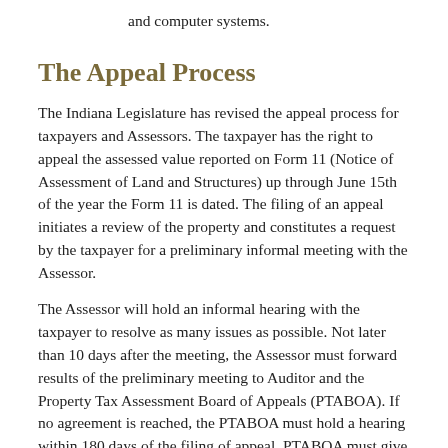and computer systems.
The Appeal Process
The Indiana Legislature has revised the appeal process for taxpayers and Assessors.  The taxpayer has the right to appeal the assessed value reported on Form 11 (Notice of Assessment of Land and Structures) up through June 15th of the year the Form 11 is dated.  The filing of an appeal initiates a review of the property and constitutes a request by the taxpayer for a preliminary informal meeting with the Assessor.
The Assessor will hold an informal hearing with the taxpayer to resolve as many issues as possible.  Not later than 10 days after the meeting, the Assessor must forward results of the preliminary meeting to Auditor and the Property Tax Assessment Board of Appeals (PTABOA).  If no agreement is reached, the PTABOA must hold a hearing within 180 days of the filing of appeal.  PTABOA must give the taxpayer 30 days notice of the hearing date.  The taxpayer may request a continuance at least 20 days before the hearing date.  PTABOA must rule on continuance within 10 days of the request.  The taxpayer may request action without his presence or withdraw a petition at least 8 days before the